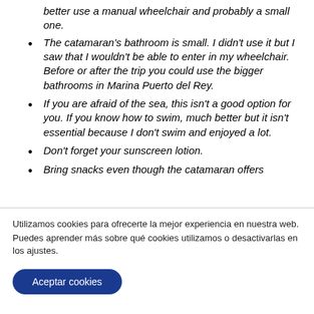better use a manual wheelchair and probably a small one.
The catamaran's bathroom is small. I didn't use it but I saw that I wouldn't be able to enter in my wheelchair. Before or after the trip you could use the bigger bathrooms in Marina Puerto del Rey.
If you are afraid of the sea, this isn't a good option for you. If you know how to swim, much better but it isn't essential because I don't swim and enjoyed a lot.
Don't forget your sunscreen lotion.
Bring snacks even though the catamaran offers food and drinks in some boats.
Utilizamos cookies para ofrecerte la mejor experiencia en nuestra web.
Puedes aprender más sobre qué cookies utilizamos o desactivarlas en los ajustes.
Aceptar cookies